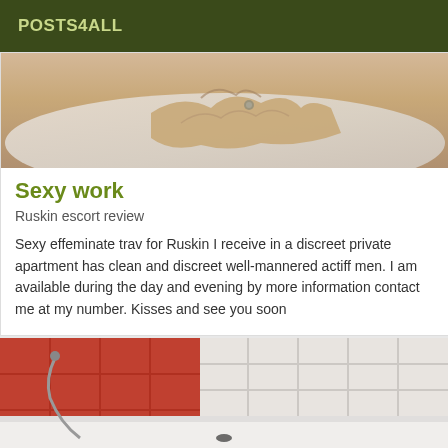POSTS4ALL
[Figure (photo): Close-up photo of hands on a floral bedsheet]
Sexy work
Ruskin escort review
Sexy effeminate trav for Ruskin I receive in a discreet private apartment has clean and discreet well-mannered actiff men. I am available during the day and evening by more information contact me at my number. Kisses and see you soon
[Figure (photo): Photo of a bathroom with red tiles and bathtub]